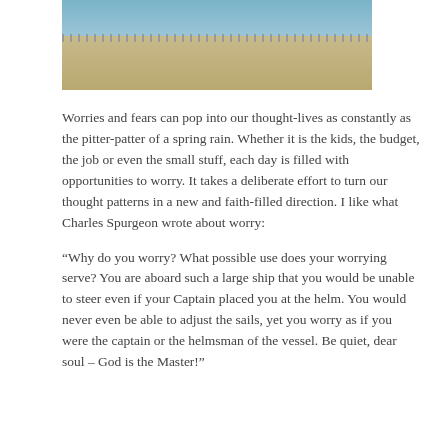[Figure (photo): A beach or waterfront scene showing water at the top and sandy ground at the bottom, with a fence or railing visible in the middle ground.]
Worries and fears can pop into our thought-lives as constantly as the pitter-patter of a spring rain. Whether it is the kids, the budget, the job or even the small stuff, each day is filled with opportunities to worry. It takes a deliberate effort to turn our thought patterns in a new and faith-filled direction. I like what Charles Spurgeon wrote about worry:
“Why do you worry? What possible use does your worrying serve? You are aboard such a large ship that you would be unable to steer even if your Captain placed you at the helm. You would never even be able to adjust the sails, yet you worry as if you were the captain or the helmsman of the vessel. Be quiet, dear soul – God is the Master!”